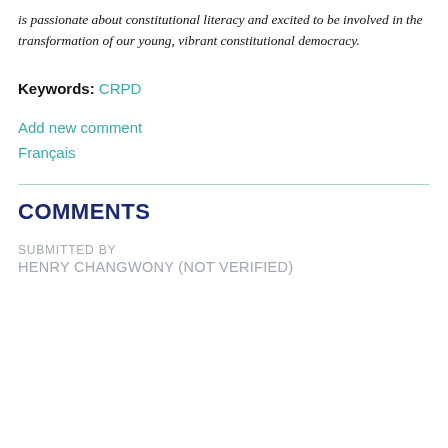is passionate about constitutional literacy and excited to be involved in the transformation of our young, vibrant constitutional democracy.
Keywords: CRPD
Add new comment
Français
COMMENTS
SUBMITTED BY
HENRY CHANGWONY (NOT VERIFIED)